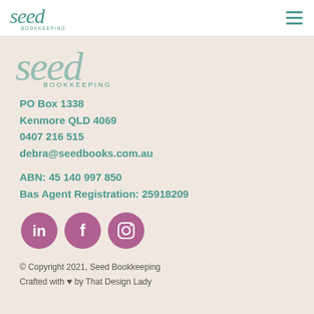[Figure (logo): Seed Bookkeeping logo in navbar]
[Figure (logo): Seed Bookkeeping large decorative logo on beige background]
PO Box 1338
Kenmore QLD 4069
0407 216 515
debra@seedbooks.com.au
ABN: 45 140 997 850
Bas Agent Registration: 25918209
[Figure (other): Social media icons: LinkedIn, Facebook, Instagram - pink/mauve circles with white icons]
© Copyright 2021, Seed Bookkeeping
Crafted with ♥ by That Design Lady